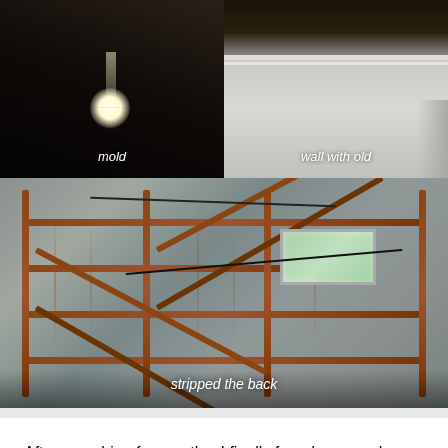[Figure (photo): Dark interior photo of a vehicle/trailer showing mold. Label 'mold' visible in white italic text at bottom center.]
[Figure (photo): Interior photo showing a wall with old material/paneling. Label 'wall with old' visible in white italic text at bottom center.]
[Figure (photo): Large photo of stripped back interior of a vehicle/trailer showing rust-colored metal frame beams, diagonal cross-braces, corrugated metal panels, a small window on the right, and wires. Label 'stripped the back' at bottom center in white italic text.]
After searching for months, I finally found my new home to be. A Mercedes 613D and drives fantastic